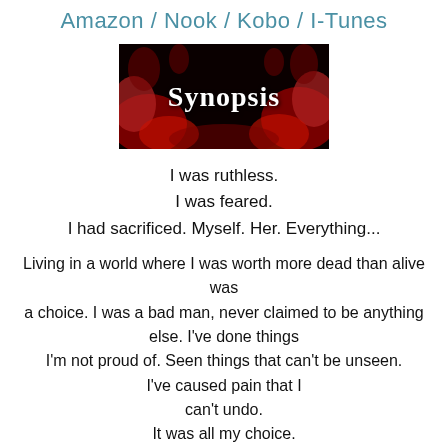Amazon / Nook / Kobo / I-Tunes
[Figure (illustration): Dark banner image with red smoke/flames and the word 'Synopsis' in gothic white lettering on a black background.]
I was ruthless.
I was feared.
I had sacrificed. Myself. Her. Everything...
Living in a world where I was worth more dead than alive was
a choice. I was a bad man, never claimed to be anything else. I've done things
I'm not proud of. Seen things that can't be unseen.
I've caused pain that I
can't undo.
It was all my choice.